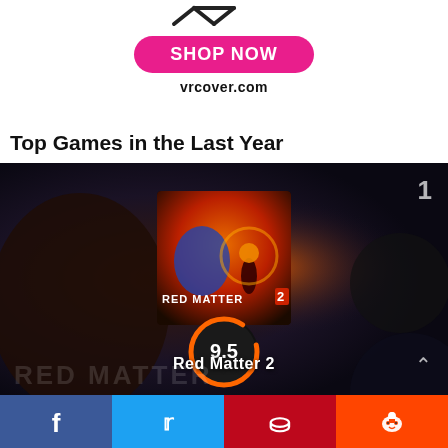[Figure (logo): VR Cover logo with shop now button and vrcover.com URL]
Top Games in the Last Year
[Figure (screenshot): Game card for Red Matter 2 with dark space background, game cover art, score circle showing 9.5, rank number 1, title Red Matter 2, and Red Matter watermark text]
[Figure (infographic): Social sharing bar with Facebook, Twitter, Pinterest, and Reddit buttons]